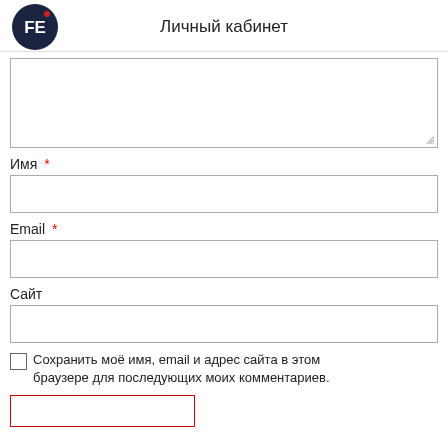Личный кабинет
[Figure (logo): FE logo — dark navy circle with white letters FE, red dot accent]
Имя *
Email *
Сайт
Сохранить моё имя, email и адрес сайта в этом браузере для последующих моих комментариев.